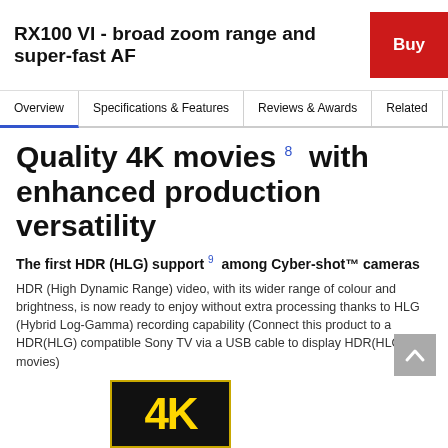RX100 VI - broad zoom range and super-fast AF
Overview | Specifications & Features | Reviews & Awards | Related | S
Quality 4K movies 8  with enhanced production versatility
The first HDR (HLG) support 9  among Cyber-shot™ cameras
HDR (High Dynamic Range) video, with its wider range of colour and brightness, is now ready to enjoy without extra processing thanks to HLG (Hybrid Log-Gamma) recording capability (Connect this product to a HDR(HLG) compatible Sony TV via a USB cable to display HDR(HLG) movies)
[Figure (logo): 4K logo — black rectangle with gold border and gold '4K' text]